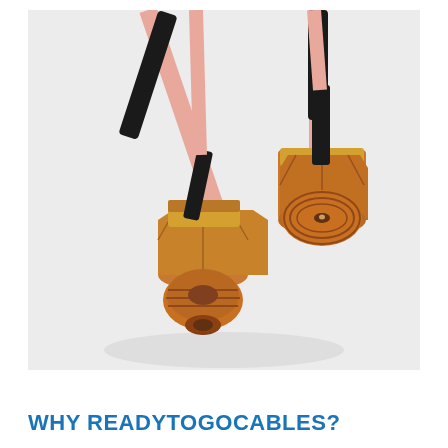[Figure (photo): Two SMA male RF coaxial cable connectors with copper/gold plated threaded ends and black shrink tubing, attached to pink/salmon colored coaxial cables crossing each other on a white background.]
WHY READYTOGOCABLES?